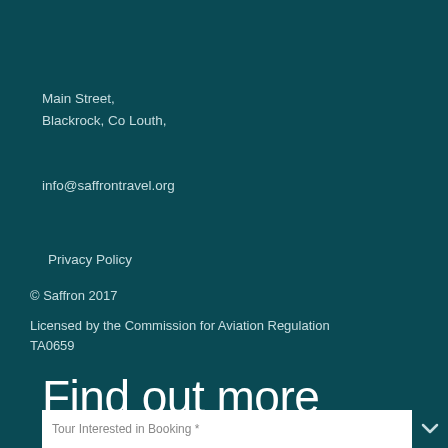Main Street,
Blackrock, Co Louth,
info@saffrontravel.org
Privacy Policy
© Saffron 2017
Licensed by the Commission for Aviation Regulation TA0659
Find out more
Tour Interested in Booking *